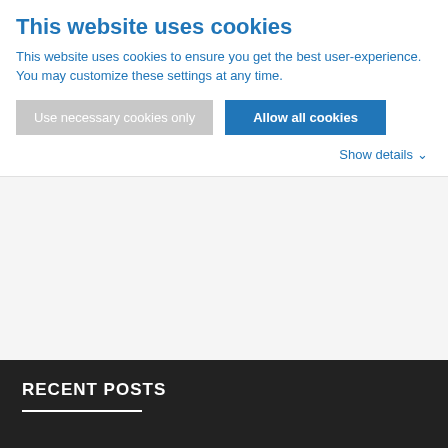This website uses cookies
This website uses cookies to ensure you get the best user-experience. You may customize these settings at any time.
Use necessary cookies only | Allow all cookies
Show details
Facility (14)
ParkVision (15)
Social Engagement (19)
Uncategorised (2)
RECENT POSTS